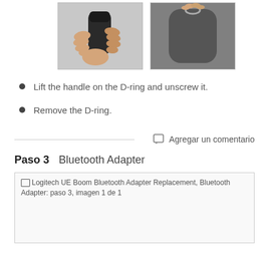[Figure (photo): Two photos side by side: left photo shows a hand holding and unscrewing a D-ring on a cylindrical black device; right photo shows a hand removing a D-ring from a similar device.]
Lift the handle on the D-ring and unscrew it.
Remove the D-ring.
Agregar un comentario
Paso 3    Bluetooth Adapter
[Figure (photo): Logitech UE Boom Bluetooth Adapter Replacement, Bluetooth Adapter: paso 3, imagen 1 de 1]